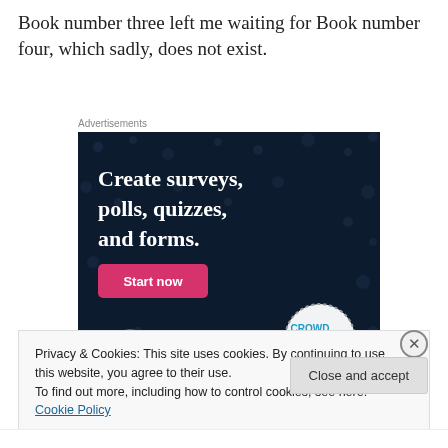Book number three left me waiting for Book number four, which sadly, does not exist.
Advertisements
[Figure (screenshot): Advertisement for Crowdsignal: dark navy background with scattered dots, bold white text reading 'Create surveys, polls, quizzes, and forms.' with a pink 'Start now' button, WordPress logo bottom left, Crowdsignal logo bottom right in a dotted circle.]
Privacy & Cookies: This site uses cookies. By continuing to use this website, you agree to their use.
To find out more, including how to control cookies, see here: Cookie Policy